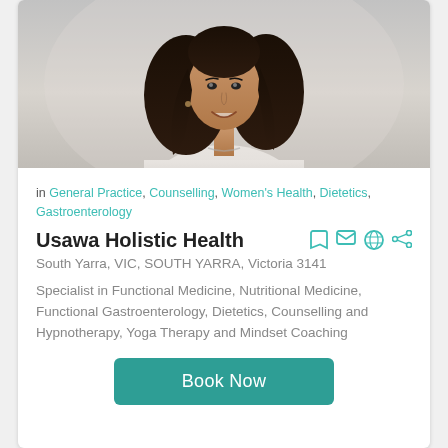[Figure (photo): Portrait photo of a smiling woman with dark hair wearing a white top, on a light background]
in General Practice, Counselling, Women's Health, Dietetics, Gastroenterology
Usawa Holistic Health
South Yarra, VIC, SOUTH YARRA, Victoria 3141
Specialist in Functional Medicine, Nutritional Medicine, Functional Gastroenterology, Dietetics, Counselling and Hypnotherapy, Yoga Therapy and Mindset Coaching
Book Now